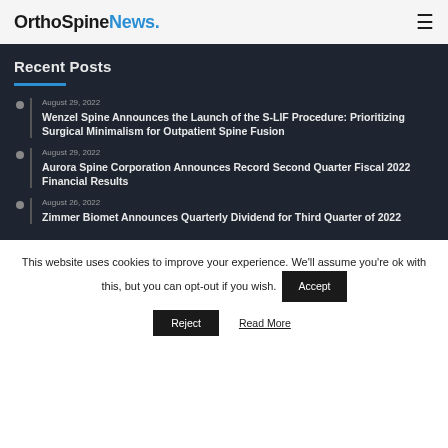OrthoSpineNews.
Recent Posts
August 29, 2022
Wenzel Spine Announces the Launch of the S-LIF Procedure: Prioritizing Surgical Minimalism for Outpatient Spine Fusion
August 29, 2022
Aurora Spine Corporation Announces Record Second Quarter Fiscal 2022 Financial Results
August 26, 2022
Zimmer Biomet Announces Quarterly Dividend for Third Quarter of 2022
This website uses cookies to improve your experience. We'll assume you're ok with this, but you can opt-out if you wish. Accept Reject Read More